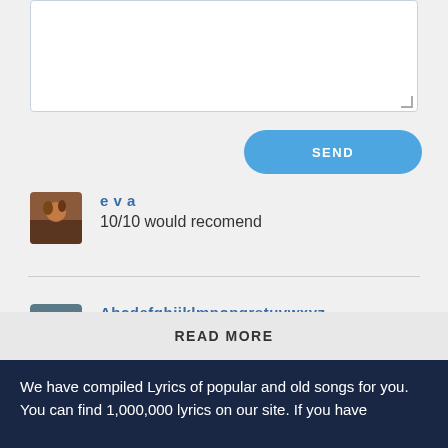[Figure (screenshot): Text input area (textarea) with light border, white background, and small resize handle in bottom-right corner]
SEND
e v a
10/10 would recomend
Abcdefghijklmnopqrstuvwxyz
Same bruh
MrRusCrack
great work
READ MORE
We have compiled Lyrics of popular and old songs for you. You can find 1,000,000 lyrics on our site. If you have